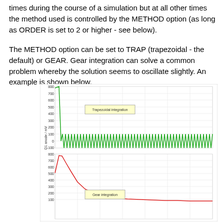times during the course of a simulation but at all other times the method used is controlled by the METHOD option (as long as ORDER is set to 2 or higher - see below).
The METHOD option can be set to TRAP (trapezoidal - the default) or GEAR. Gear integration can solve a common problem whereby the solution seems to oscillate slightly. An example is shown below.
[Figure (continuous-plot): Two stacked plots showing trapezoidal integration (top, green line) vs Gear integration (bottom, red line) of D1 anode/mV and D1 cathode/mV respectively. The trapezoidal integration shows strong oscillations settling around 100-200 mV range after initial spike to ~800. The Gear integration shows a smooth decay curve from ~800 down without oscillation. Both plots share a similar x-axis (time). Y-axis top: D1 anode / mV from -100 to 800. Y-axis bottom: D1 cathode / mV from 100 to 800.]